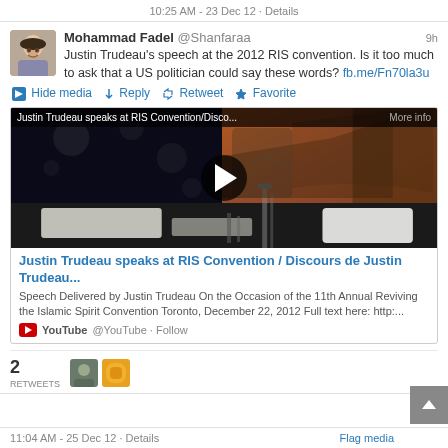10:25 AM - 23 Dec 12 · Details
Mohammad Fadel @Shanfaraa 9h
Justin Trudeau's speech at the 2012 RIS convention. Is it too much to ask that a US politician could say these words? fb.me/Fn70la3u
Hide media · Reply · Retweet · Favorite
[Figure (screenshot): Video thumbnail showing Justin Trudeau speaking at RIS Convention with play button overlay. Title bar reads: Justin Trudeau speaks at RIS Convention/Disco... More info]
Justin Trudeau speaks at RIS Convention / Discours de Justin Trudeau...
Speech Delivered by Justin Trudeau On the Occasion of the 11th Annual Reviving the Islamic Spirit Convention Toronto, December 22, 2012 Full text here: http:...
YouTube @YouTube · Follow
2 RETWEETS
11:04 AM - 25 Dec 12 · Details
Flag media